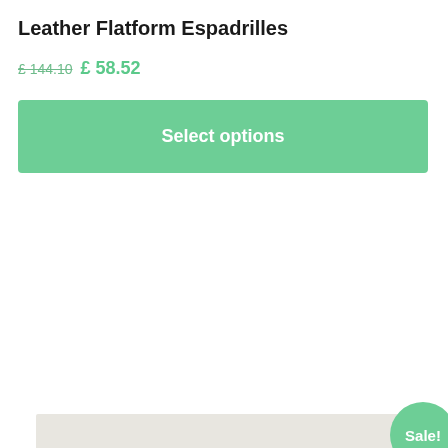Leather Flatform Espadrilles
£ 144.10  £ 58.52
Select options
[Figure (photo): Product image placeholder — light beige/grey background rectangle representing a shoe product photo, with a green 'Sale!' badge circle overlapping the top-right corner and a green scroll-to-top button at the bottom-right.]